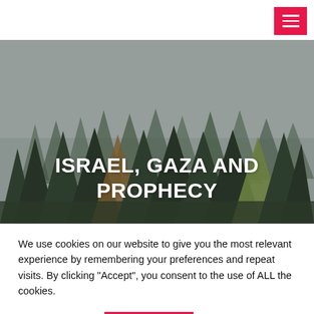[Figure (photo): Hero banner showing a forest of evergreen/pine trees with autumn foliage against a grey overcast sky, with bold white text overlay reading ISRAEL, GAZA AND PROPHECY]
ISRAEL, GAZA AND PROPHECY
We use cookies on our website to give you the most relevant experience by remembering your preferences and repeat visits. By clicking “Accept”, you consent to the use of ALL the cookies.
Cookie settings | ACCEPT